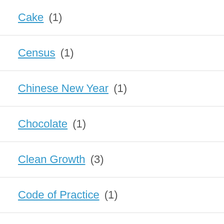Cake (1)
Census (1)
Chinese New Year (1)
Chocolate (1)
Clean Growth (3)
Code of Practice (1)
Domestic (5)